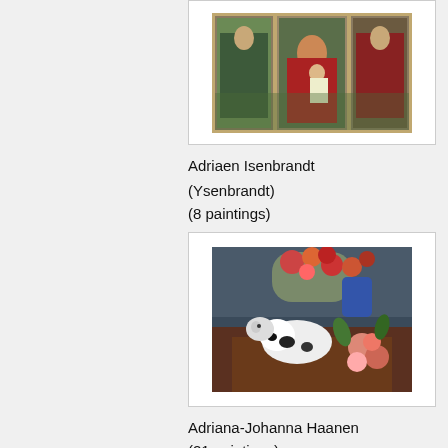[Figure (photo): Triptych painting showing Madonna and Child with saints in a wooden frame, partially visible at top of page]
Adriaen Isenbrandt (Ysenbrandt)
(8 paintings)
[Figure (photo): Painting of a white and black dog resting among flowers and red roses on a table with landscape background]
Adriana-Johanna Haanen
(21 paintings)
[Figure (photo): Partially visible painting card at bottom of page]